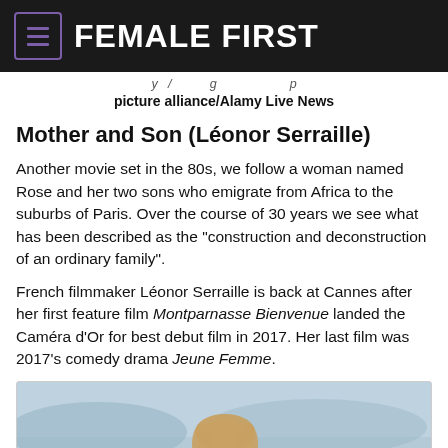FEMALE FIRST
picture alliance/Alamy Live News
Mother and Son (Léonor Serraille)
Another movie set in the 80s, we follow a woman named Rose and her two sons who emigrate from Africa to the suburbs of Paris. Over the course of 30 years we see what has been described as the “construction and deconstruction of an ordinary family”.
French filmmaker Léonor Serraille is back at Cannes after her first feature film Montparnasse Bienvenue landed the Caméra d’Or for best debut film in 2017. Her last film was 2017’s comedy drama Jeune Femme.
[Figure (photo): Photo of a person (partially visible) with a blurred outdoor background, blue-grey tones.]